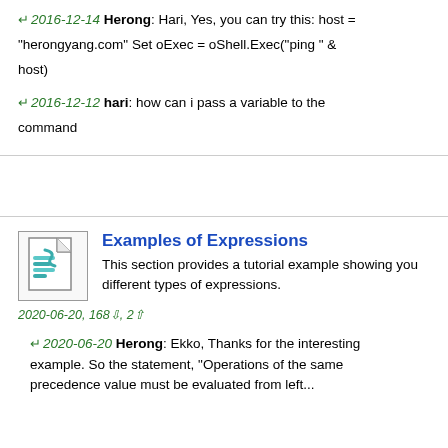↵ 2016-12-14 Herong: Hari, Yes, you can try this: host = "herongyang.com" Set oExec = oShell.Exec("ping " & host)
↵ 2016-12-12 hari: how can i pass a variable to the command
[Figure (logo): Book/document icon with stylized snake or ribbon graphic, pixel art style]
Examples of Expressions
This section provides a tutorial example showing you different types of expressions.
2020-06-20, 168↵, 2↵
↵ 2020-06-20 Herong: Ekko, Thanks for the interesting example. So the statement, "Operations of the same precedence value must be evaluated from left...